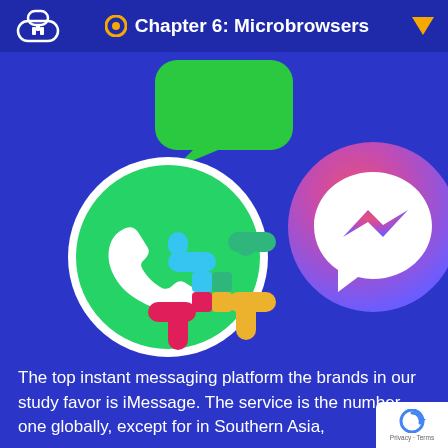Chapter 6: Microbrowsers
[Figure (illustration): Logos of top instant messaging platforms: iMessage (green chat bubble), WhatsApp (green circle with phone icon), Facebook Messenger (purple/pink gradient circle with lightning bolt), and Slack (colorful hash symbol) arranged on a blue background]
The top instant messaging platform the brands in our study favor is iMessage. The service is the number one globally, except for in Southern Asia,